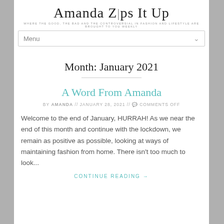Amanda Zips It Up
WHERE THE GOOD, THE BAD AND THE CONTROVERSIAL IN FASHION AND LIFESTYLE ARE BROUGHT TO YOU WEEKLY
Menu
Month: January 2021
A Word From Amanda
BY AMANDA // JANUARY 28, 2021 // COMMENTS OFF
Welcome to the end of January, HURRAH! As we near the end of this month and continue with the lockdown, we remain as positive as possible, looking at ways of maintaining fashion from home. There isn't too much to look...
CONTINUE READING →